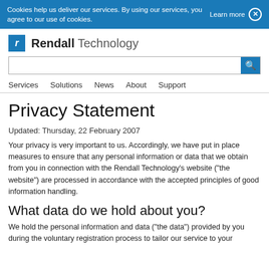Cookies help us deliver our services. By using our services, you agree to our use of cookies. Learn more ×
[Figure (logo): Rendall Technology logo with blue 'r' icon in a square and gray text 'Rendall Technology']
Privacy Statement
Updated: Thursday, 22 February 2007
Your privacy is very important to us. Accordingly, we have put in place measures to ensure that any personal information or data that we obtain from you in connection with the Rendall Technology's website ("the website") are processed in accordance with the accepted principles of good information handling.
What data do we hold about you?
We hold the personal information and data ("the data") provided by you during the voluntary registration process to tailor our service to your